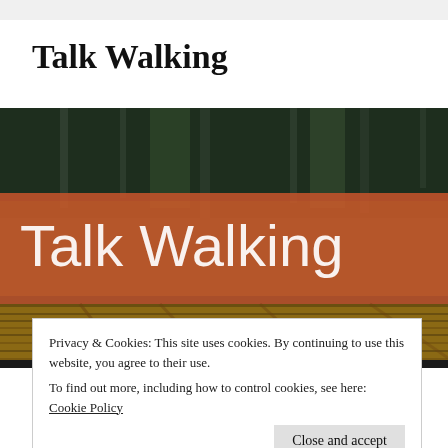Talk Walking
[Figure (photo): A banner image showing a wooden boardwalk or deck in the foreground with forest trees in the background. An orange/rust-colored semi-transparent banner overlays the middle of the image with the text 'Talk Walking' in large white sans-serif letters.]
Privacy & Cookies: This site uses cookies. By continuing to use this website, you agree to their use.
To find out more, including how to control cookies, see here: Cookie Policy
Close and accept
A Minimalist's Approach to Hoobies